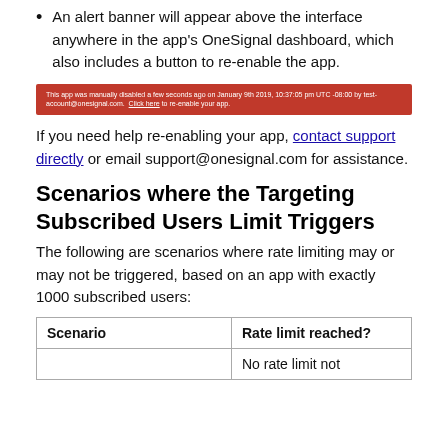An alert banner will appear above the interface anywhere in the app's OneSignal dashboard, which also includes a button to re-enable the app.
[Figure (screenshot): Red alert banner reading: This app was manually disabled a few seconds ago on January 9th 2019, 10:37:05 pm UTC -08:00 by test-account@onesignal.com. Click here to re-enable your app.]
If you need help re-enabling your app, contact support directly or email support@onesignal.com for assistance.
Scenarios where the Targeting Subscribed Users Limit Triggers
The following are scenarios where rate limiting may or may not be triggered, based on an app with exactly 1000 subscribed users:
| Scenario | Rate limit reached? |
| --- | --- |
|  | No rate limit not |